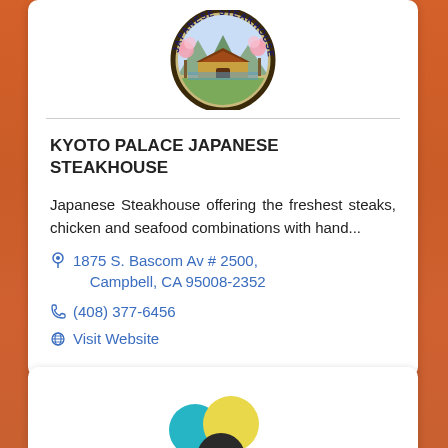[Figure (logo): Kyoto Palace Japanese Steakhouse circular logo with illustration of a Japanese building, mountains, and cherry blossoms with text 'JAPANESE STEAKHOUSE' around the border]
KYOTO PALACE JAPANESE STEAKHOUSE
Japanese Steakhouse offering the freshest steaks, chicken and seafood combinations with hand...
1875 S. Bascom Av # 2500, Campbell, CA 95008-2352
(408) 377-6456
Visit Website
[Figure (illustration): Partial view of colored circles (teal, yellow, dark) forming a logo or graphic at the bottom of the page]